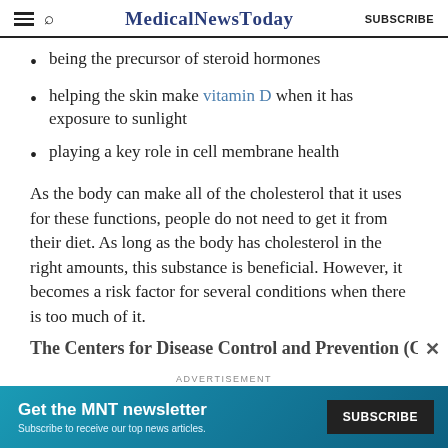MedicalNewsToday SUBSCRIBE
being the precursor of steroid hormones
helping the skin make vitamin D when it has exposure to sunlight
playing a key role in cell membrane health
As the body can make all of the cholesterol that it uses for these functions, people do not need to get it from their diet. As long as the body has cholesterol in the right amounts, this substance is beneficial. However, it becomes a risk factor for several conditions when there is too much of it.
The Centers for Disease Control and Prevention (CDC...
[Figure (other): Advertisement banner: Get the MNT newsletter. Subscribe to receive our top news articles. SUBSCRIBE button.]